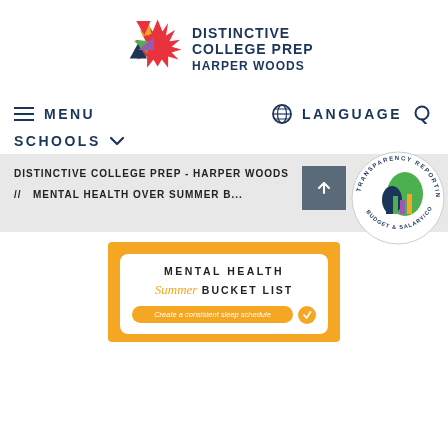[Figure (logo): Distinctive College Prep Harper Woods logo with colorful starburst and dark blue text]
MENU   LANGUAGE
SCHOOLS
DISTINCTIVE COLLEGE PREP - HARPER WOODS
// MENTAL HEALTH OVER SUMMER B...
[Figure (logo): Transparency Reporting - Budget & Salary/Compensation circular badge with Michigan map and bar chart]
[Figure (infographic): Mental Health Summer Bucket List infographic on orange background with white card. Shows title 'MENTAL HEALTH Summer BUCKET LIST' and 'Create a consistent sleep schedule' with checkmark button.]